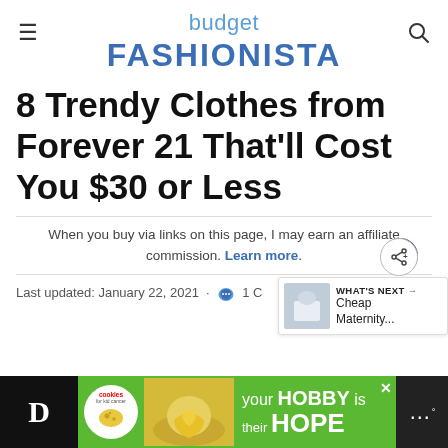budget FASHIONISTA
8 Trendy Clothes from Forever 21 That'll Cost You $30 or Less
When you buy via links on this page, I may earn an affiliate commission. Learn more.
Last updated: January 22, 2021 · 💬 1 C
[Figure (screenshot): WHAT'S NEXT arrow label with Cheap Maternity... text and thumbnail image]
[Figure (infographic): Advertisement banner: cookies for kid cancer, your HOBBY is their HOPE]